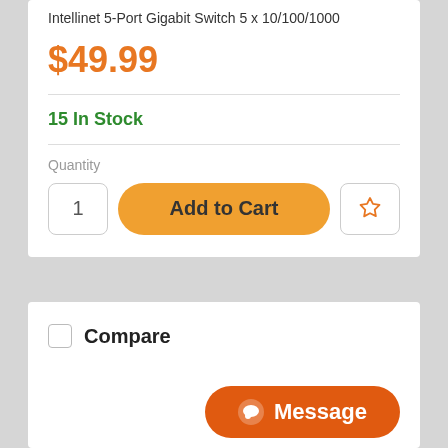Intellinet 5-Port Gigabit Switch 5 x 10/100/1000
$49.99
15 In Stock
Quantity
1
Add to Cart
Compare
Message